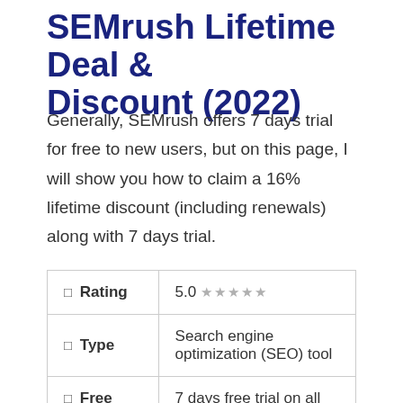SEMrush Lifetime Deal & Discount (2022)
Generally, SEMrush offers 7 days trial for free to new users, but on this page, I will show you how to claim a 16% lifetime discount (including renewals) along with 7 days trial.
|  |  |
| --- | --- |
| ⊞ Rating | 5.0 ★★★★★ |
| ⊞ Type | Search engine optimization (SEO) tool |
| ⊞ Free Trial | 7 days free trial on all monthly plans |
| ⊞ Regular |  |